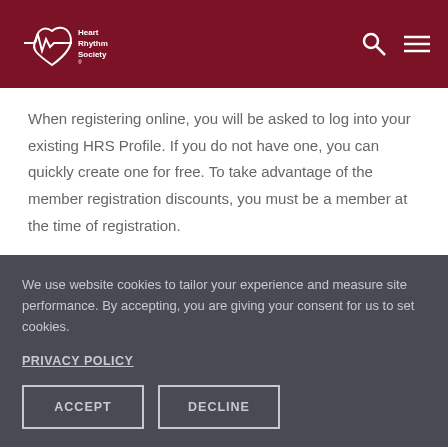Heart Rhythm Society
When registering online, you will be asked to log into your existing HRS Profile. If you do not have one, you can quickly create one for free. To take advantage of the member registration discounts, you must be a member at the time of registration.
We use website cookies to tailor your experience and measure site performance. By accepting, you are giving your consent for us to set cookies.
PRIVACY POLICY
ACCEPT
DECLINE